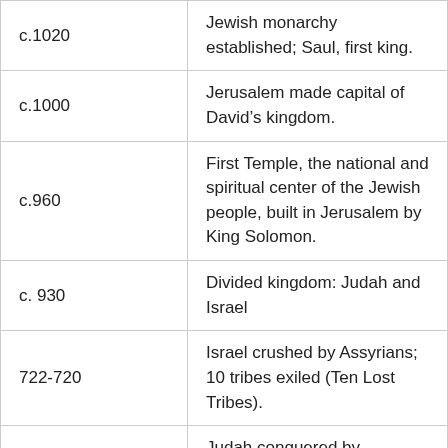| Date | Event |
| --- | --- |
| c.1020 | Jewish monarchy established; Saul, first king. |
| c.1000 | Jerusalem made capital of David’s kingdom. |
| c.960 | First Temple, the national and spiritual center of the Jewish people, built in Jerusalem by King Solomon. |
| c. 930 | Divided kingdom: Judah and Israel |
| 722-720 | Israel crushed by Assyrians; 10 tribes exiled (Ten Lost Tribes). |
| 586 | Judah conquered by Babylonia; Jerusalem and First Temple destroyed; most Jews exiled. |